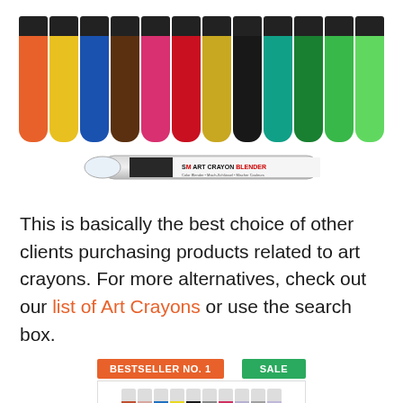[Figure (photo): Multiple colorful Marabu Art Crayon markers arranged in a row showing various colors (orange, yellow, blue, brown, pink, red, gold, black, teal, green, light green), with a white Art Crayon Blender marker below them.]
This is basically the best choice of other clients purchasing products related to art crayons. For more alternatives, check out our list of Art Crayons or use the search box.
[Figure (photo): Bottom portion of a product listing showing 'BESTSELLER NO. 1' orange badge, 'SALE' green badge, and a partial view of colorful art crayon markers.]